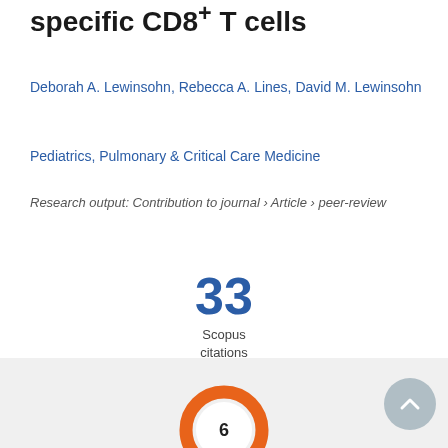specific CD8⁺ T cells
Deborah A. Lewinsohn, Rebecca A. Lines, David M. Lewinsohn
Pediatrics, Pulmonary & Critical Care Medicine
Research output: Contribution to journal › Article › peer-review
[Figure (other): Scopus citations count: 33]
[Figure (donut-chart): Donut chart showing value 6]